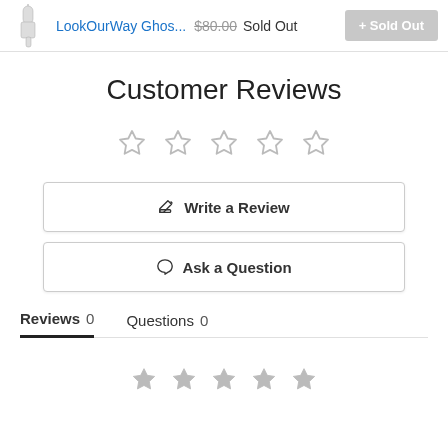LookOurWay Ghos... $80.00 Sold Out
Customer Reviews
[Figure (other): Five empty star rating icons (outline only, no fill), representing 0 out of 5 stars rating]
Write a Review
Ask a Question
Reviews 0   Questions 0
[Figure (other): Five filled grey star icons representing a star rating at bottom of page]